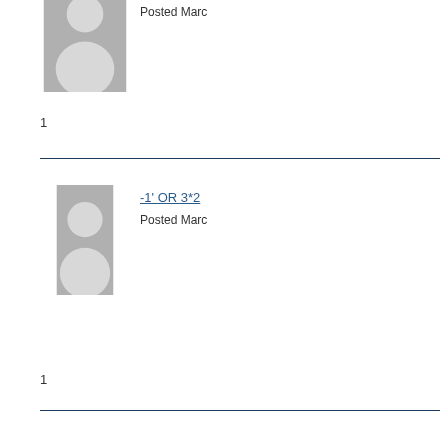[Figure (illustration): Default user avatar placeholder (gray silhouette of a person) for first comment, partially cropped at top]
Posted Marc
1
[Figure (illustration): Default user avatar placeholder (gray silhouette of a person) for second comment]
-1' OR 3*2
Posted Marc
1
[Figure (illustration): Default user avatar placeholder (gray silhouette of a person) for third comment]
-1' OR 2+5
Posted Marc
1